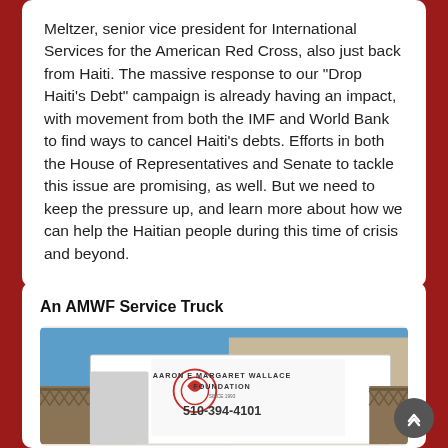Meltzer, senior vice president for International Services for the American Red Cross, also just back from Haiti. The massive response to our "Drop Haiti's Debt" campaign is already having an impact, with movement from both the IMF and World Bank to find ways to cancel Haiti's debts. Efforts in both the House of Representatives and Senate to tackle this issue are promising, as well. But we need to keep the pressure up, and learn more about how we can help the Haitian people during this time of crisis and beyond.
An AMWF Service Truck
[Figure (photo): Photo of an AMWF (Aaron E Margaret Wallace Foundation) service truck parked near a bridge, with the foundation name and phone number 510-394-4101 visible on the side.]